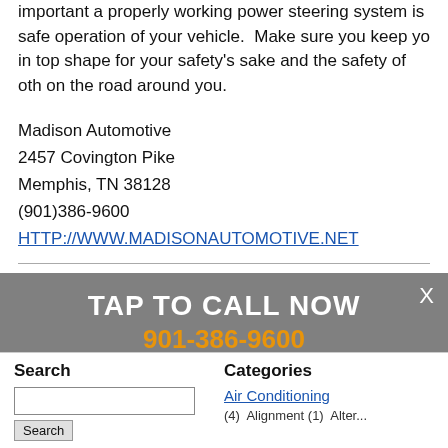important a properly working power steering system is safe operation of your vehicle.  Make sure you keep your in top shape for your safety's sake and the safety of others on the road around you.
Madison Automotive
2457 Covington Pike
Memphis, TN 38128
(901)386-9600
HTTP://WWW.MADISONAUTOMOTIVE.NET
[Figure (screenshot): Gray overlay popup banner reading 'TAP TO CALL NOW' in white bold text with '901-386-9600' in orange below, and an X close button top right]
Search
Categories
Air Conditioning
(4)  Alignment (1)  Alter...